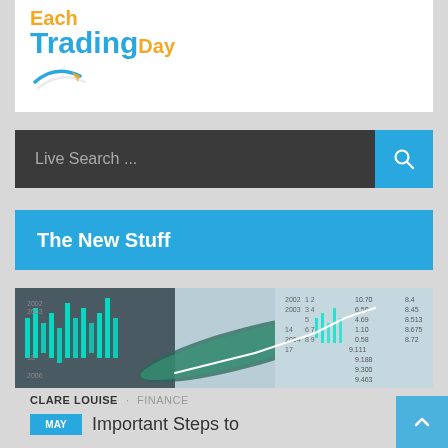[Figure (logo): EachTradingDay logo with orange and blue text and a curved arrow graphic]
Live Search ...
The New Stuff
[Figure (photo): Finance stock market trading chart overlaid on financial data spreadsheet with a pen, teal candlestick chart and white trend line]
CLARE LOUISE · FINANCE
Important Steps to